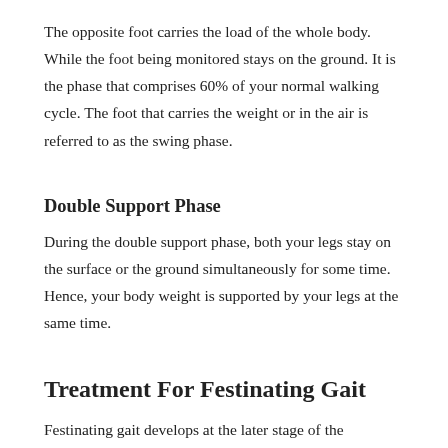The opposite foot carries the load of the whole body. While the foot being monitored stays on the ground. It is the phase that comprises 60% of your normal walking cycle. The foot that carries the weight or in the air is referred to as the swing phase.
Double Support Phase
During the double support phase, both your legs stay on the surface or the ground simultaneously for some time. Hence, your body weight is supported by your legs at the same time.
Treatment For Festinating Gait
Festinating gait develops at the later stage of the Parkinson's disease. It does not have a direct impact on your life. But, the quality of your life gets impacted negatively. You will find it